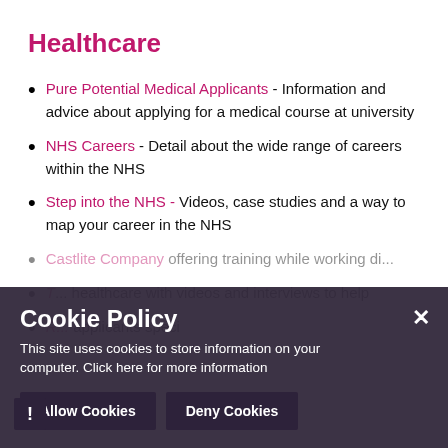Healthcare
Pure Potential Medical Applicants - Information and advice about applying for a medical course at university
NHS Careers - Detail about the wide range of careers within the NHS
Step into the NHS - Videos, case studies and a way to map your career in the NHS
Castlite Company offering training while working diplomas...
T levels... healthcare with videos and interviews to help
R... applicants special
Cookie Policy
This site uses cookies to store information on your computer. Click here for more information
Allow Cookies  Deny Cookies